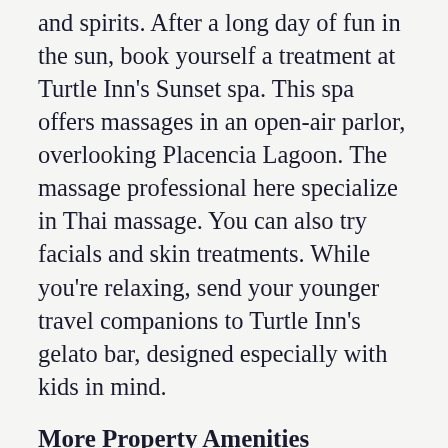and spirits. After a long day of fun in the sun, book yourself a treatment at Turtle Inn's Sunset spa. This spa offers massages in an open-air parlor, overlooking Placencia Lagoon. The massage professional here specialize in Thai massage. You can also try facials and skin treatments. While you're relaxing, send your younger travel companions to Turtle Inn's gelato bar, designed especially with kids in mind.
More Property Amenities
Alarm Clock
Bar
Beach Access
Breakfast Available
Coffee Service
Fan